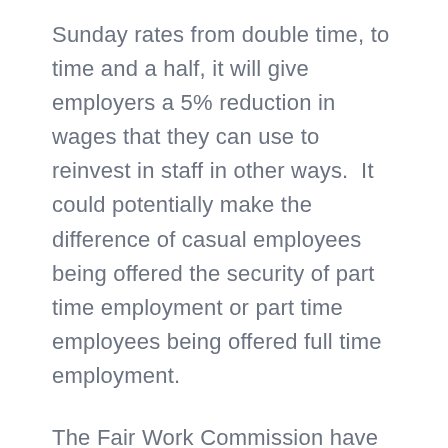Sunday rates from double time, to time and a half, it will give employers a 5% reduction in wages that they can use to reinvest in staff in other ways.  It could potentially make the difference of casual employees being offered the security of part time employment or part time employees being offered full time employment.
The Fair Work Commission have stated that they have no intention of this decision flowing on anywhere else. Changes to the Public holiday penalty